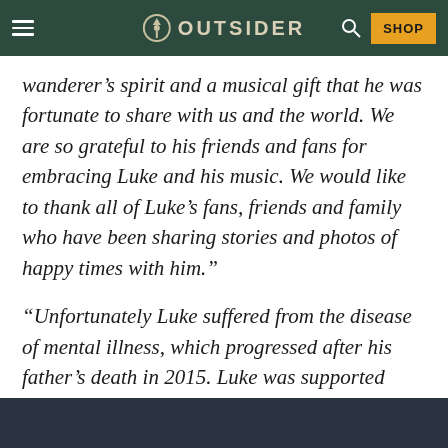OUTSIDER
wanderer’s spirit and a musical gift that he was fortunate to share with us and the world. We are so grateful to his friends and fans for embracing Luke and his music. We would like to thank all of Luke’s fans, friends and family who have been sharing stories and photos of happy times with him.”
“Unfortunately Luke suffered from the disease of mental illness, which progressed after his father’s death in 2015. Luke was supported through his